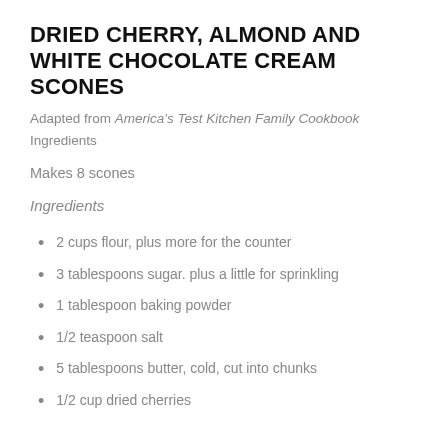DRIED CHERRY, ALMOND AND WHITE CHOCOLATE CREAM SCONES
Adapted from America's Test Kitchen Family Cookbook
Ingredients
Makes 8 scones
Ingredients
2 cups flour, plus more for the counter
3 tablespoons sugar. plus a little for sprinkling
1 tablespoon baking powder
1/2 teaspoon salt
5 tablespoons butter, cold,  cut into chunks
1/2 cup dried cherries